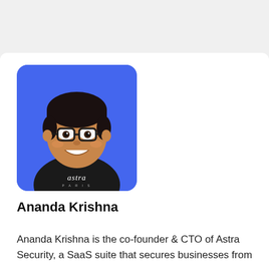[Figure (illustration): Cartoon/illustrated avatar of Ananda Krishna — a smiling man with dark hair, glasses, and a black sweatshirt with 'astra PARIS' text, on a bright blue rounded-rectangle background.]
Ananda Krishna
Ananda Krishna is the co-founder & CTO of Astra Security, a SaaS suite that secures businesses from